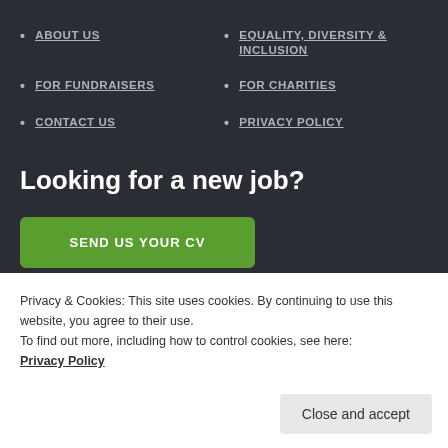ABOUT US
EQUALITY, DIVERSITY & INCLUSION
FOR FUNDRAISERS
FOR CHARITIES
CONTACT US
PRIVACY POLICY
Looking for a new job?
SEND US YOUR CV
Privacy & Cookies: This site uses cookies. By continuing to use this website, you agree to their use.
To find out more, including how to control cookies, see here:
Privacy Policy
Close and accept